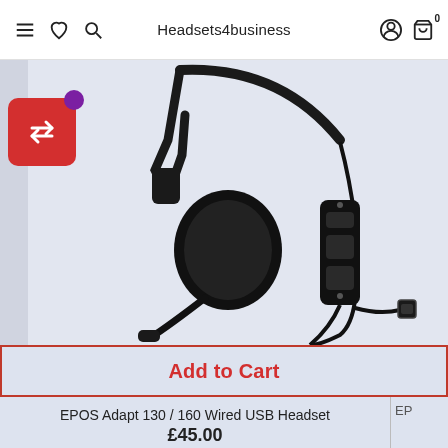Headsets4business
[Figure (photo): EPOS Adapt 130/160 wired USB headset product photo showing single-ear headset with inline control module and USB-C connector, on light blue-grey background. Red compare button with arrows icon in bottom-left of image area.]
Add to Cart
EPOS Adapt 130 / 160 Wired USB Headset
£45.00
EP